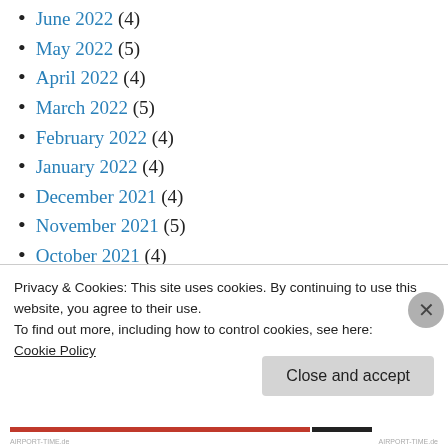June 2022 (4)
May 2022 (5)
April 2022 (4)
March 2022 (5)
February 2022 (4)
January 2022 (4)
December 2021 (4)
November 2021 (5)
October 2021 (4)
September 2021 (4)
August 2021 (5)
Privacy & Cookies: This site uses cookies. By continuing to use this website, you agree to their use.
To find out more, including how to control cookies, see here: Cookie Policy
Close and accept